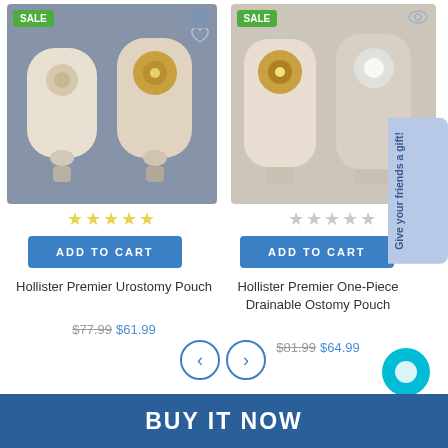[Figure (photo): Two Hollister Premier Urostomy Pouches on grey background, with SALE badge, eye icon, heart icon, and star rating]
[Figure (photo): Two Hollister Premier One-Piece Drainable Ostomy Pouches on light background, with SALE badge, eye icon, and star rating]
ADD TO CART
ADD TO CART
Hollister Premier Urostomy Pouch
$77.99 $61.99
Hollister Premier One-Piece Drainable Ostomy Pouch
$81.99 $64.99
Give your friends a gift!
BUY IT NOW